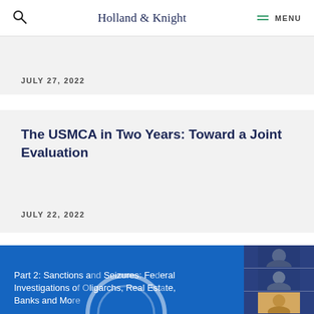Holland & Knight — MENU
JULY 27, 2022
The USMCA in Two Years: Toward a Joint Evaluation
JULY 22, 2022
[Figure (screenshot): Webinar screenshot with blue background showing text: Part 2: Sanctions and Seizures: Federal Investigations of Oligarchs, Real Estate, Banks and More, with participant video thumbnails on the right side.]